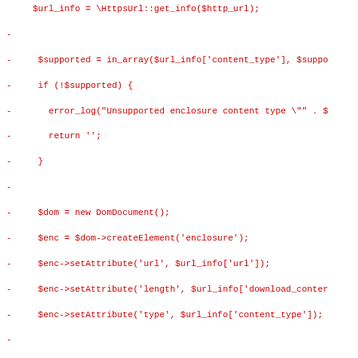[Figure (screenshot): A code diff screenshot showing deleted PHP code lines (prefixed with '-') in red monospace font on white background. The code shows PHP functions including enclosure creation with DomDocument, setAttribute calls, and a log_xml_error private function with a switch statement handling LIBXML error levels.]